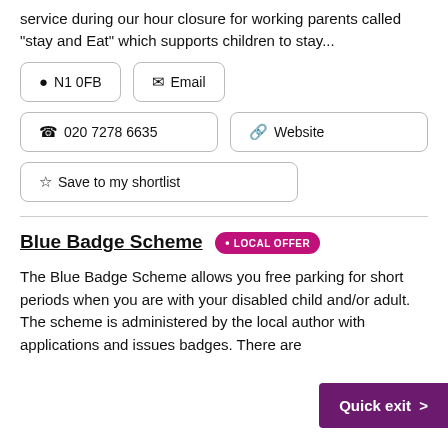service during our hour closure for working parents called "stay and Eat" which supports children to stay...
📍 N1 0FB
✉ Email
📞 020 7278 6635
🔗 Website
☆ Save to my shortlist
Blue Badge Scheme • LOCAL OFFER
The Blue Badge Scheme allows you free parking for short periods when you are with your disabled child and/or adult. The scheme is administered by the local author with applications and issues badges. There are